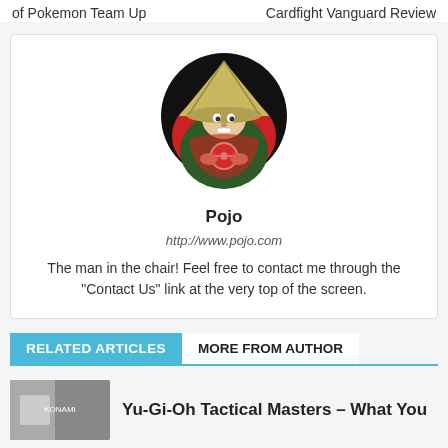of Pokemon Team Up | Cardfight Vanguard Review
[Figure (illustration): Circular avatar/logo of Pojo: a cartoon figure in a conical hat holding a Pokeball, with red and black circular background]
Pojo
http://www.pojo.com
The man in the chair! Feel free to contact me through the "Contact Us" link at the very top of the screen.
RELATED ARTICLES	MORE FROM AUTHOR
Yu-Gi-Oh Tactical Masters – What You